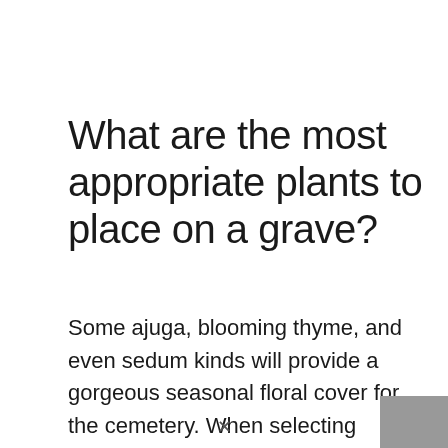What are the most appropriate plants to place on a grave?
Some ajuga, blooming thyme, and even sedum kinds will provide a gorgeous seasonal floral cover for the cemetery. When selecting flowers for planting on a cemetery, keep in mind the height of the plant you are putting. Some of the blooms will grow to be extremely tall and will completely cover the